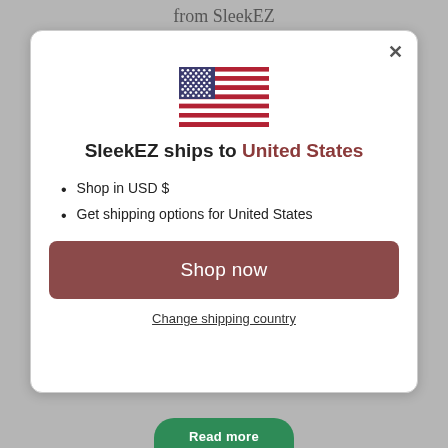from SleekEZ
[Figure (illustration): US flag SVG icon centered in modal]
SleekEZ ships to United States
Shop in USD $
Get shipping options for United States
Shop now
Change shipping country